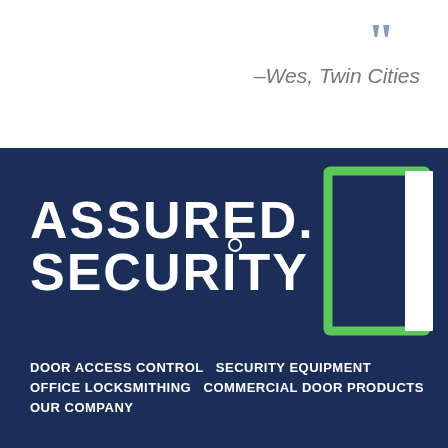–Wes, Twin Cities
[Figure (logo): Assured Security company logo with green door outline graphic and white bold text reading ASSURED. SECURITY on dark navy background]
DOOR ACCESS CONTROL  SECURITY EQUIPMENT
OFFICE LOCKSMITHING  COMMERCIAL DOOR PRODUCTS
OUR COMPANY
MON–FRI: 8 am – 5 pm
952-881-0896
9905 Lyndale Ave S, Bloomington, MN 55420